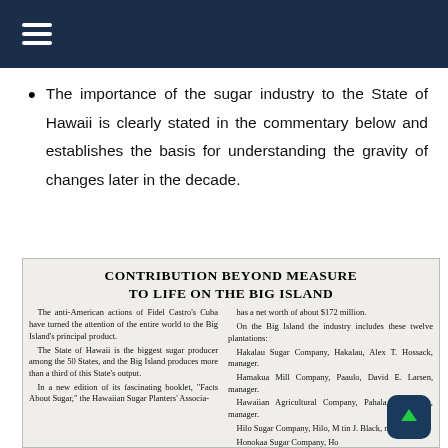The importance of the sugar industry to the State of Hawaii is clearly stated in the commentary below and establishes the basis for understanding the gravity of changes later in the decade.
[Figure (other): Newspaper clipping with headline 'CONTRIBUTION BEYOND MEASURE TO LIFE ON THE BIG ISLAND' and two-column article text about Hawaii sugar industry including mention of Cuba, Big Island plantations such as Hakalau Sugar Company, Hamakua Mill Company, Hawaiian Agricultural Company, Hilo Sugar Company, and Honokaa Sugar Company.]